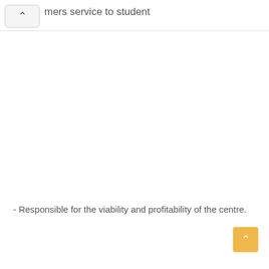mers service to student
- Responsible for the viability and profitability of the centre.